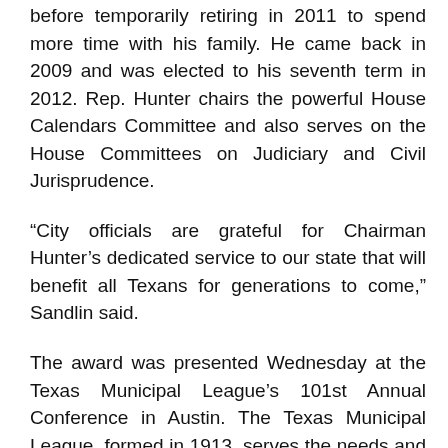before temporarily retiring in 2011 to spend more time with his family. He came back in 2009 and was elected to his seventh term in 2012. Rep. Hunter chairs the powerful House Calendars Committee and also serves on the House Committees on Judiciary and Civil Jurisprudence.
“City officials are grateful for Chairman Hunter’s dedicated service to our state that will benefit all Texans for generations to come,” Sandlin said.
The award was presented Wednesday at the Texas Municipal League’s 101st Annual Conference in Austin. The Texas Municipal League, formed in 1913, serves the needs and advocates the interests of 1,135 cities and over 16,000 mayors, council members, city managers, city attorneys, and city department heads who are member officials.